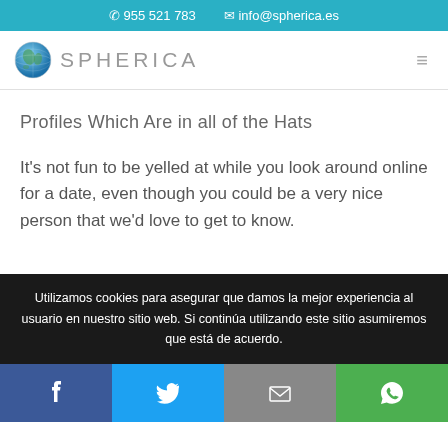955 521 783  info@spherica.es
[Figure (logo): Spherica globe logo with text SPHERICA]
Profiles Which Are in all of the Hats
It's not fun to be yelled at while you look around online for a date, even though you could be a very nice person that we'd love to get to know.
Utilizamos cookies para asegurar que damos la mejor experiencia al usuario en nuestro sitio web. Si continúa utilizando este sitio asumiremos que está de acuerdo.
[Figure (infographic): Social share bar with Facebook, Twitter, Email, and WhatsApp buttons]